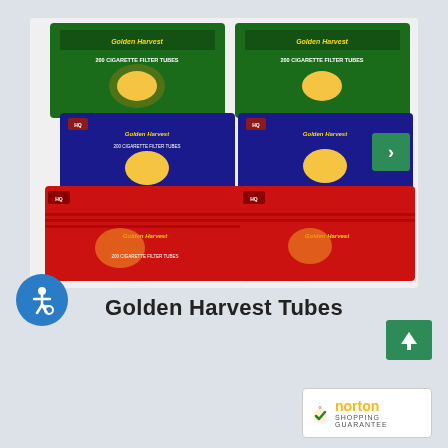[Figure (photo): Product photo showing Golden Harvest cigarette filter tube boxes in green, blue, and red varieties, each labeled '200 CIGARETTE FILTER TUBES' with HQ branding. Boxes are arranged in a V-shape display. A green navigation arrow is visible on the right side of the image carousel.]
Golden Harvest Tubes
[Figure (logo): Norton Shopping Guarantee badge with checkmark logo and yellow/gold 'norton' text, white background with border.]